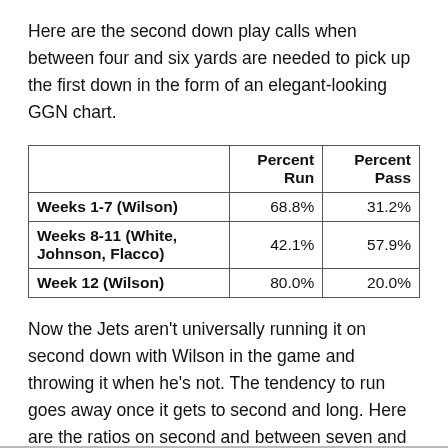Here are the second down play calls when between four and six yards are needed to pick up the first down in the form of an elegant-looking GGN chart.
|  | Percent Run | Percent Pass |
| --- | --- | --- |
| Weeks 1-7 (Wilson) | 68.8% | 31.2% |
| Weeks 8-11 (White, Johnson, Flacco) | 42.1% | 57.9% |
| Week 12 (Wilson) | 80.0% | 20.0% |
Now the Jets aren't universally running it on second down with Wilson in the game and throwing it when he's not. The tendency to run goes away once it gets to second and long. Here are the ratios on second and between seven and ten and second and eleven or longer respectively in two elegant-looking GGN charts.